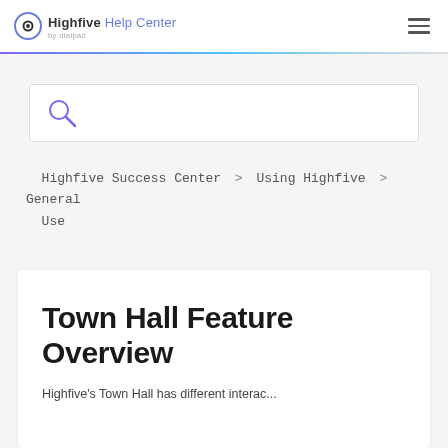Highfive Help Center by dialpad
[Figure (logo): Highfive Help Center logo with circular icon and 'by dialpad' subtitle]
[Figure (other): Search box with magnifying glass icon]
Highfive Success Center > Using Highfive > General Use
Town Hall Feature Overview
Highfive's Town Hall has different interac...